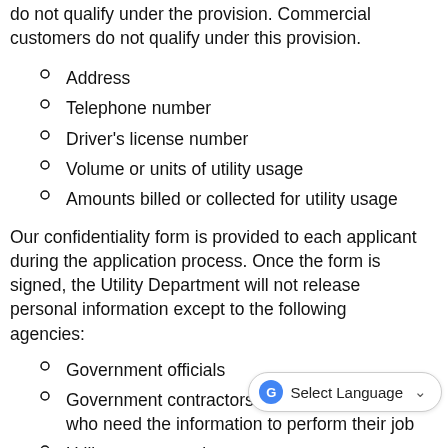do not qualify under the provision. Commercial customers do not qualify under this provision.
Address
Telephone number
Driver's license number
Volume or units of utility usage
Amounts billed or collected for utility usage
Our confidentiality form is provided to each applicant during the application process. Once the form is signed, the Utility Department will not release personal information except to the following agencies:
Government officials
Government contractors or subcontractors who need the information to perform their job
Utility representatives
Consumer reporting agencies